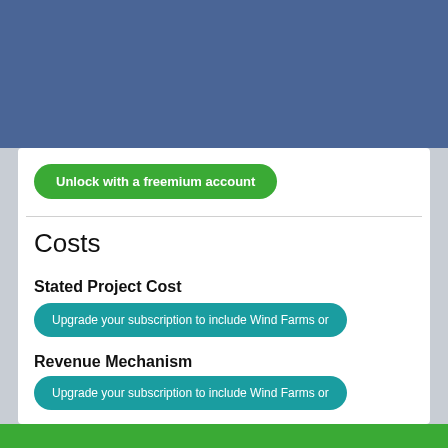First Power
Upgrade your subscription to include Wind Farms or
Full Commissioning
Unlock with a freemium account
Costs
Stated Project Cost
Upgrade your subscription to include Wind Farms or
Revenue Mechanism
Upgrade your subscription to include Wind Farms or
Revenue Details
Upgrade your subscription to include Wind Farms or
Revenue
/MWh (EUR /MWh)